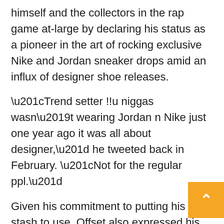himself and the collectors in the rap game at-large by declaring his status as a pioneer in the art of rocking exclusive Nike and Jordan sneaker drops amid an influx of designer shoe releases.
“Trend setter !!u niggas wasn’t wearing Jordan n Nike just one year ago it was all about designer,” he tweeted back in February. “Not for the regular ppl.”
Given his commitment to putting his elite stash to use, Offset also expressed his excitement to be affiliated with the campaign in an exclusive press statement from eBay Sneakers on May 20.
“eBay is my go-to place to find the kicks you can’t find anywhere else,” he said. “For sneaker collectors like me who lay awake at night trying to decide you’re going to wear your new kicks, eBay’s We ‘Em Out Store makes light of something that haunts